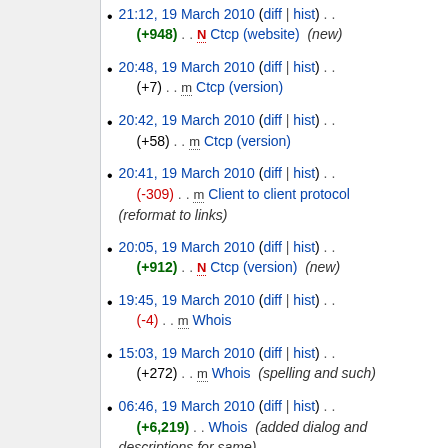21:12, 19 March 2010 (diff | hist) . . (+948) . . N Ctcp (website) (new)
20:48, 19 March 2010 (diff | hist) . . (+7) . . m Ctcp (version)
20:42, 19 March 2010 (diff | hist) . . (+58) . . m Ctcp (version)
20:41, 19 March 2010 (diff | hist) . . (-309) . . m Client to client protocol (reformat to links)
20:05, 19 March 2010 (diff | hist) . . (+912) . . N Ctcp (version) (new)
19:45, 19 March 2010 (diff | hist) . . (-4) . . m Whois
15:03, 19 March 2010 (diff | hist) . . (+272) . . m Whois (spelling and such)
06:46, 19 March 2010 (diff | hist) . . (+6,219) . . Whois (added dialog and descriptions for same)
01:40, 16 March 2010 (diff | hist)